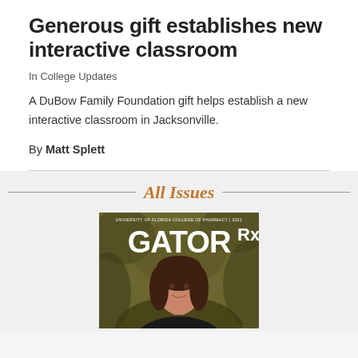Generous gift establishes new interactive classroom
In College Updates
A DuBow Family Foundation gift helps establish a new interactive classroom in Jacksonville.
By Matt Splett
All Issues
[Figure (photo): Cover of GatorRx magazine, University of Florida College of Pharmacy 2021, showing a woman with dark hair smiling, with large white GATOR Rx text overlaid on a nature background]